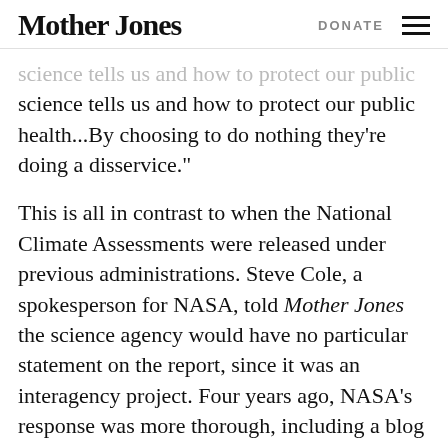Mother Jones | DONATE
science tells us and how to protect our public health...By choosing to do nothing they’re doing a disservice.”
This is all in contrast to when the National Climate Assessments were released under previous administrations. Steve Cole, a spokesperson for NASA, told Mother Jones the science agency would have no particular statement on the report, since it was an interagency project. Four years ago, NASA’s response was more thorough, including a blog post by the administrator highlighting NASA’s role in the report.